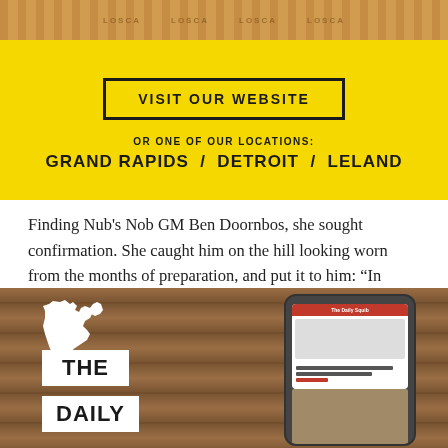[Figure (photo): Yellow background advertisement with cardboard box at top, 'VISIT OUR WEBSITE' button in black border, and locations text 'GRAND RAPIDS / DETROIT / LELAND']
Finding Nub's Nob GM Ben Doornbos, she sought confirmation. She caught him on the hill looking worn from the months of preparation, and put it to him: “In the park, is that what I think it is?”
[Figure (photo): Photo of wooden surface with white Michigan state outline cutout, 'THE DAILY' text labels in white boxes, and a hand holding a smartphone showing The Daily Squib website]